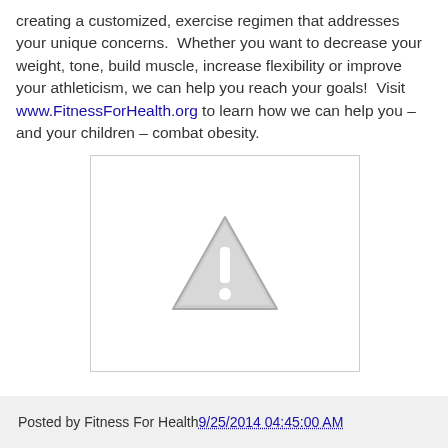creating a customized, exercise regimen that addresses your unique concerns. Whether you want to decrease your weight, tone, build muscle, increase flexibility or improve your athleticism, we can help you reach your goals! Visit www.FitnessForHealth.org to learn how we can help you – and your children – combat obesity.
[Figure (other): Placeholder image box with a grey warning/caution triangle icon (exclamation mark inside triangle) centered in a white bordered rectangle]
Posted by Fitness For Health 9/25/2014 04:45:00 AM